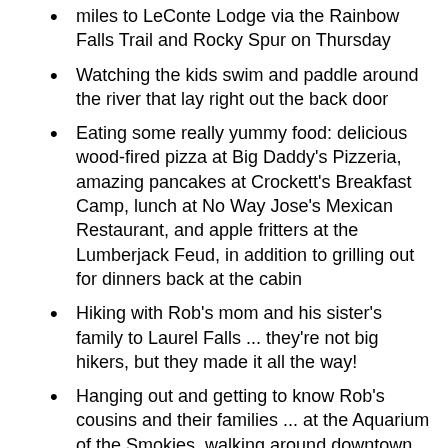miles to LeConte Lodge via the Rainbow Falls Trail and Rocky Spur on Thursday
Watching the kids swim and paddle around the river that lay right out the back door
Eating some really yummy food: delicious wood-fired pizza at Big Daddy's Pizzeria, amazing pancakes at Crockett's Breakfast Camp, lunch at No Way Jose's Mexican Restaurant, and apple fritters at the Lumberjack Feud, in addition to grilling out for dinners back at the cabin
Hiking with Rob's mom and his sister's family to Laurel Falls ... they're not big hikers, but they made it all the way!
Hanging out and getting to know Rob's cousins and their families ... at the Aquarium of the Smokies, walking around downtown Gatlinburg, and just hanging out at the house
Watching the family enjoy the Lumberjack Feud ... the older nephew originally said that he didn't want to go, but ended up having a great time ...